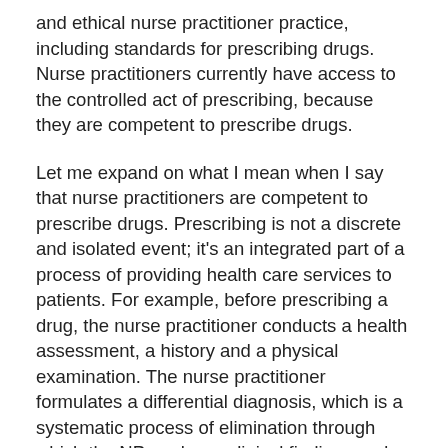and ethical nurse practitioner practice, including standards for prescribing drugs. Nurse practitioners currently have access to the controlled act of prescribing, because they are competent to prescribe drugs.
Let me expand on what I mean when I say that nurse practitioners are competent to prescribe drugs. Prescribing is not a discrete and isolated event; it's an integrated part of a process of providing health care services to patients. For example, before prescribing a drug, the nurse practitioner conducts a health assessment, a history and a physical examination. The nurse practitioner formulates a differential diagnosis, which is a systematic process of elimination through which the NP analyzes clinical findings and symptoms to narrow down the list of potential diagnoses. The NP takes inventory of all medications the patient is taking to reduce the risk of interactions and potential errors. After writing the prescription, the NP documents it in the patient's health record and monitors the patient's response to the medication.